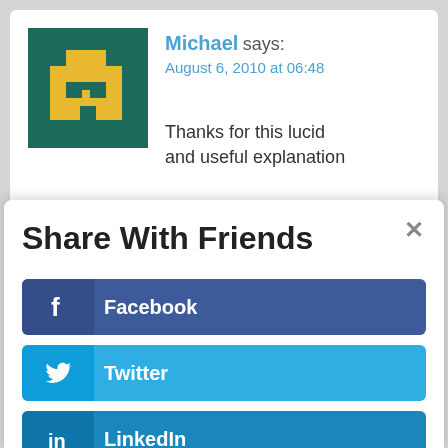[Figure (illustration): Pixel art avatar icon: dark teal background with yellow pixel character]
Michael says:
August 6, 2010 at 06:48
Thanks for this lucid and useful explanation
Share With Friends
Facebook
Twitter
LinkedIn
Gmail